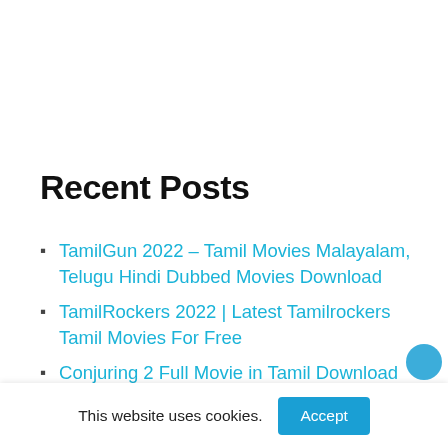Recent Posts
TamilGun 2022 – Tamil Movies Malayalam, Telugu Hindi Dubbed Movies Download
TamilRockers 2022 | Latest Tamilrockers Tamil Movies For Free
Conjuring 2 Full Movie in Tamil Download Tamilrockers | HD Movies
This website uses cookies.  Accept